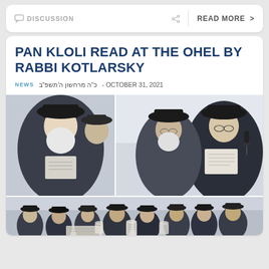DISCUSSION  READ MORE >
PAN KLOLI READ AT THE OHEL BY RABBI KOTLARSKY
NEWS  כ"ה מרחשון ה'תשפ"ב - OCTOBER 31, 2021
[Figure (photo): Two-panel photo collage showing rabbis reading at the Ohel. Left panel: elderly rabbi with white beard reading a paper. Right panel: rabbi speaking into microphone while reading a letter, with others in the background.]
[Figure (photo): Wide panoramic photo showing a large group of people at the Ohel, reading papers and prayers.]